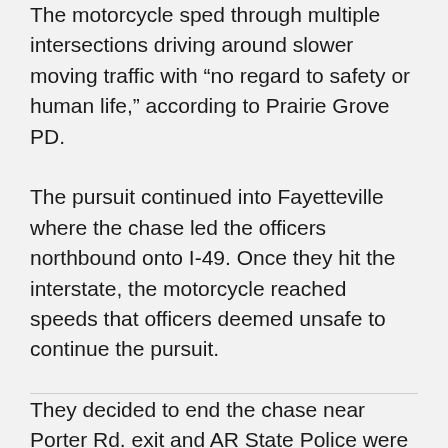The motorcycle sped through multiple intersections driving around slower moving traffic with “no regard to safety or human life,” according to Prairie Grove PD.
The pursuit continued into Fayetteville where the chase led the officers northbound onto I-49. Once they hit the interstate, the motorcycle reached speeds that officers deemed unsafe to continue the pursuit.
They decided to end the chase near Porter Rd. exit and AR State Police were notified.